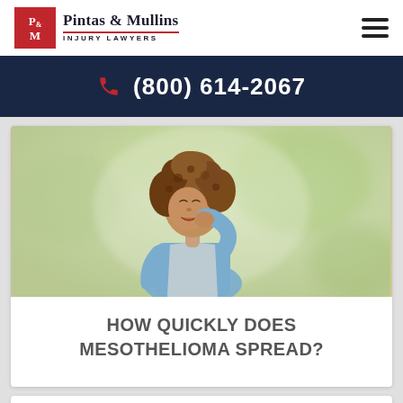[Figure (logo): Pintas & Mullins Injury Lawyers logo with red P&M box and text]
(800) 614-2067
[Figure (photo): Woman with curly hair coughing into her fist, wearing a light blue top, outdoors with blurred green background]
HOW QUICKLY DOES MESOTHELIOMA SPREAD?